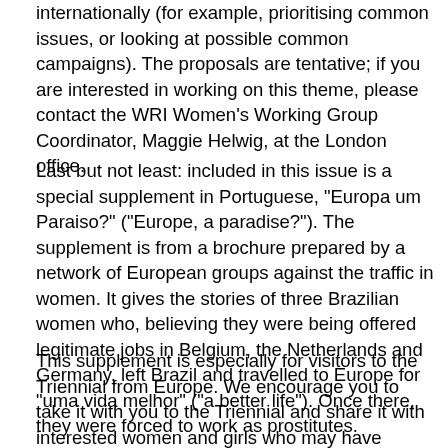internationally (for example, prioritising common issues, or looking at possible common campaigns). The proposals are tentative; if you are interested in working on this theme, please contact the WRI Women's Working Group Coordinator, Maggie Helwig, at the London office.
Last but not least: included in this issue is a special supplement in Portuguese, "Europa um Paraiso?" ("Europe, a paradise?"). The supplement is from a brochure prepared by a network of European groups against the traffic in women. It gives the stories of three Brazilian women who, believing they were being offered legitimate jobs in Belgium, the Netherlands and Germany, left Brazil and travelled to Europe for "uma vida melhor" ("a better life"). Once there, they were forced to work as prostitutes.
This supplement is especially for visitors to the Triennial from Europe. We encourage you to take it with you to the Triennial and share it with interested women and girls who may have questions about life in Europe. The supplement includes advice on travel (keep all valid travel documents and important